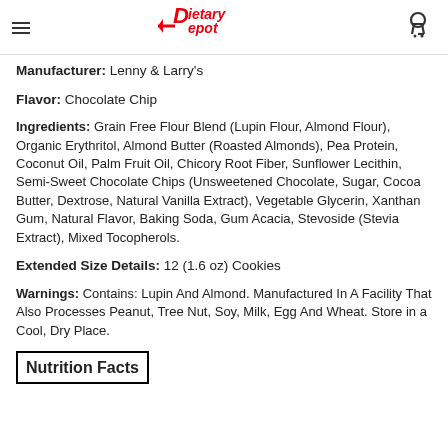Dietary Depot
Manufacturer: Lenny & Larry's
Flavor: Chocolate Chip
Ingredients: Grain Free Flour Blend (Lupin Flour, Almond Flour), Organic Erythritol, Almond Butter (Roasted Almonds), Pea Protein, Coconut Oil, Palm Fruit Oil, Chicory Root Fiber, Sunflower Lecithin, Semi-Sweet Chocolate Chips (Unsweetened Chocolate, Sugar, Cocoa Butter, Dextrose, Natural Vanilla Extract), Vegetable Glycerin, Xanthan Gum, Natural Flavor, Baking Soda, Gum Acacia, Stevoside (Stevia Extract), Mixed Tocopherols.
Extended Size Details: 12 (1.6 oz) Cookies
Warnings: Contains: Lupin And Almond. Manufactured In A Facility That Also Processes Peanut, Tree Nut, Soy, Milk, Egg And Wheat. Store in a Cool, Dry Place.
Nutrition Facts